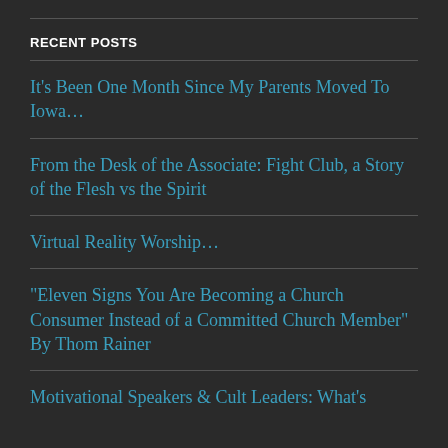RECENT POSTS
It's Been One Month Since My Parents Moved To Iowa…
From the Desk of the Associate: Fight Club, a Story of the Flesh vs the Spirit
Virtual Reality Worship…
“Eleven Signs You Are Becoming a Church Consumer Instead of a Committed Church Member” By Thom Rainer
Motivational Speakers & Cult Leaders: What’s